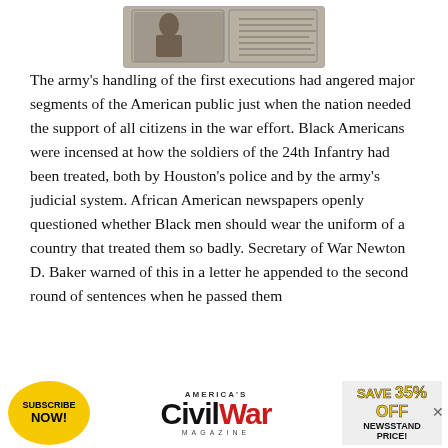[Figure (photo): Partial view of a historical photograph with handwritten text, cropped at top of page]
The army's handling of the first executions had angered major segments of the American public just when the nation needed the support of all citizens in the war effort. Black Americans were incensed at how the soldiers of the 24th Infantry had been treated, both by Houston's police and by the army's judicial system. African American newspapers openly questioned whether Black men should wear the uniform of a country that treated them so badly. Secretary of War Newton D. Baker warned of this in a letter he appended to the second round of sentences when he passed them
[Figure (advertisement): America's Civil War magazine subscription advertisement with yellow Subscribe Now circle, Civil War logo in black and red, and Save 35% Off Newsstand Price text]